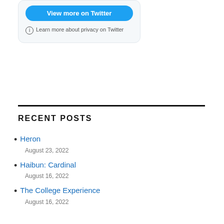[Figure (screenshot): Twitter embedded widget card showing a 'View more on Twitter' blue button and a privacy note 'Learn more about privacy on Twitter']
RECENT POSTS
Heron
August 23, 2022
Haibun: Cardinal
August 16, 2022
The College Experience
August 16, 2022